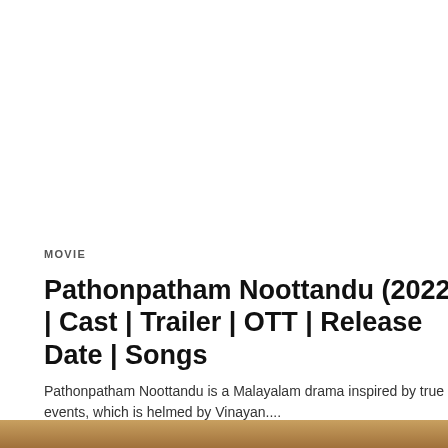MOVIE
Pathonpatham Noottandu (2022) | Cast | Trailer | OTT | Release Date | Songs
Pathonpatham Noottandu is a Malayalam drama inspired by true events, which is helmed by Vinayan....
12 hours ago
[Figure (photo): Partial view of a movie-related image at the bottom of the page]